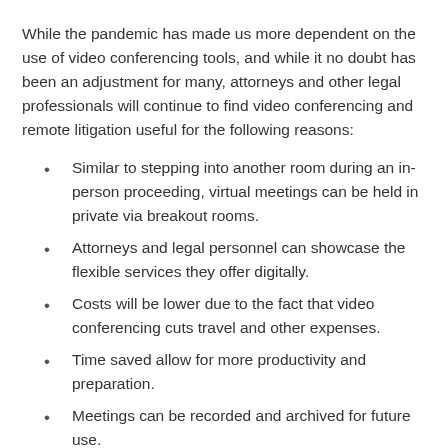While the pandemic has made us more dependent on the use of video conferencing tools, and while it no doubt has been an adjustment for many, attorneys and other legal professionals will continue to find video conferencing and remote litigation useful for the following reasons:
Similar to stepping into another room during an in-person proceeding, virtual meetings can be held in private via breakout rooms.
Attorneys and legal personnel can showcase the flexible services they offer digitally.
Costs will be lower due to the fact that video conferencing cuts travel and other expenses.
Time saved allow for more productivity and preparation.
Meetings can be recorded and archived for future use.
Clients, witnesses, and other participants with busy schedules will have greater flexibility.